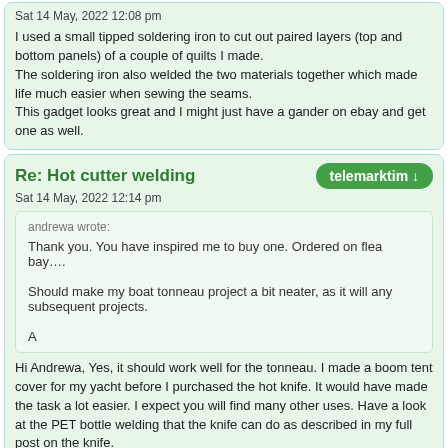Sat 14 May, 2022 12:08 pm
I used a small tipped soldering iron to cut out paired layers (top and bottom panels) of a couple of quilts I made.
The soldering iron also welded the two materials together which made life much easier when sewing the seams.
This gadget looks great and I might just have a gander on ebay and get one as well.
Re: Hot cutter welding
Sat 14 May, 2022 12:14 pm
andrewa wrote:
Thank you. You have inspired me to buy one. Ordered on flea bay....

Should make my boat tonneau project a bit neater, as it will any subsequent projects.

A
Hi Andrewa, Yes, it should work well for the tonneau. I made a boom tent cover for my yacht before I purchased the hot knife. It would have made the task a lot easier. I expect you will find many other uses. Have a look at the PET bottle welding that the knife can do as described in my full post on the knife.
Tim
Re: Hot cutter welding
Sun 15 May, 2022 9:27 am
telemarktim wrote: